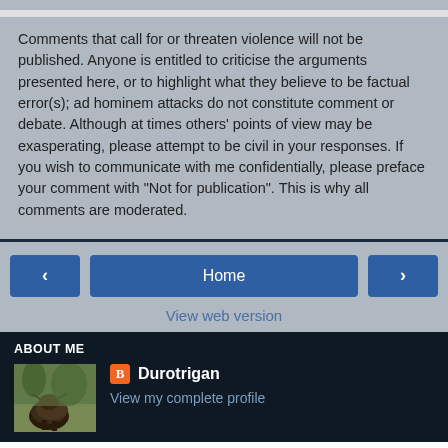Comments that call for or threaten violence will not be published. Anyone is entitled to criticise the arguments presented here, or to highlight what they believe to be factual error(s); ad hominem attacks do not constitute comment or debate. Although at times others' points of view may be exasperating, please attempt to be civil in your responses. If you wish to communicate with me confidentially, please preface your comment with "Not for publication". This is why all comments are moderated.
Home
View web version
ABOUT ME
Durotrigan
View my complete profile